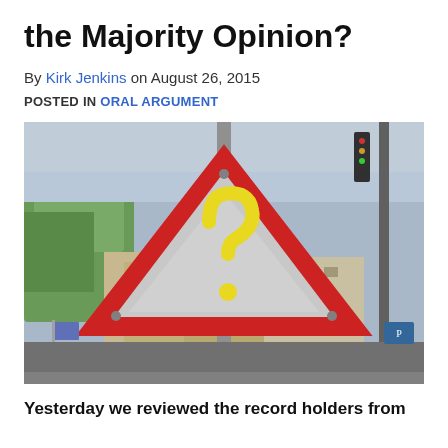the Majority Opinion?
By Kirk Jenkins on August 26, 2015
POSTED IN ORAL ARGUMENT
[Figure (photo): A triangular yield sign with a yellow question mark painted on it, mounted on a pole with urban street scene and trees in background.]
Yesterday we reviewed the record holders from